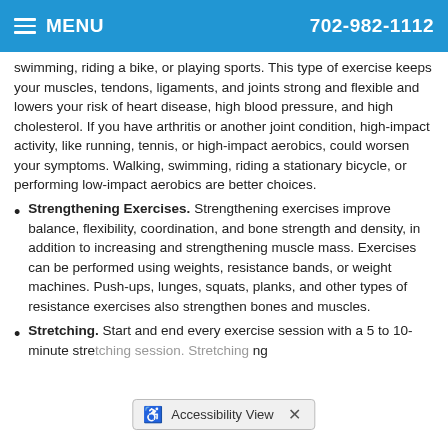MENU  702-982-1112
swimming, riding a bike, or playing sports. This type of exercise keeps your muscles, tendons, ligaments, and joints strong and flexible and lowers your risk of heart disease, high blood pressure, and high cholesterol. If you have arthritis or another joint condition, high-impact activity, like running, tennis, or high-impact aerobics, could worsen your symptoms. Walking, swimming, riding a stationary bicycle, or performing low-impact aerobics are better choices.
Strengthening Exercises. Strengthening exercises improve balance, flexibility, coordination, and bone strength and density, in addition to increasing and strengthening muscle mass. Exercises can be performed using weights, resistance bands, or weight machines. Push-ups, lunges, squats, planks, and other types of resistance exercises also strengthen bones and muscles.
Stretching. Start and end every exercise session with a 5 to 10-minute stretching session. Stretching